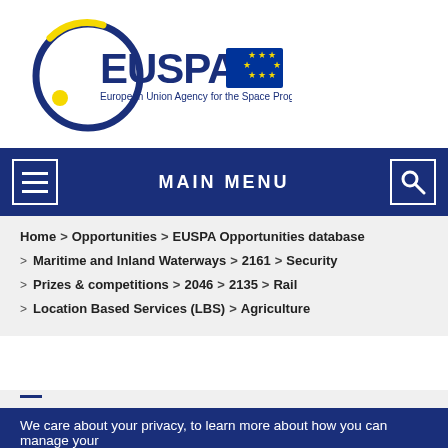[Figure (logo): EUSPA - European Union Agency for the Space Programme logo with EU flag]
MAIN MENU
Home > Opportunities > EUSPA Opportunities database > Maritime and Inland Waterways > 2161 > Security > Prizes & competitions > 2046 > 2135 > Rail > Location Based Services (LBS) > Agriculture
We care about your privacy, to learn more about how you can manage your consent in relation to cookies and analytics click here